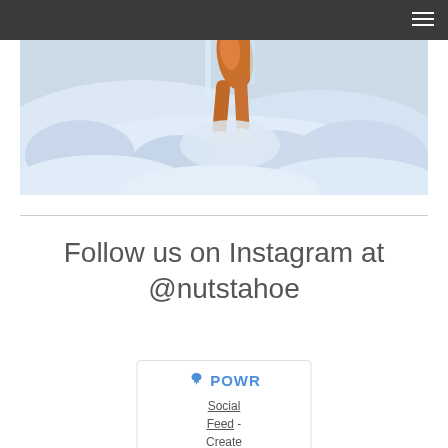[Figure (photo): A fox partially buried in snow, showing its hind legs and tail sticking up from deep snow in a winter scene.]
Follow us on Instagram at @nutstahoe
[Figure (other): POWR widget box showing the POWR logo and Social Feed - Create link text.]